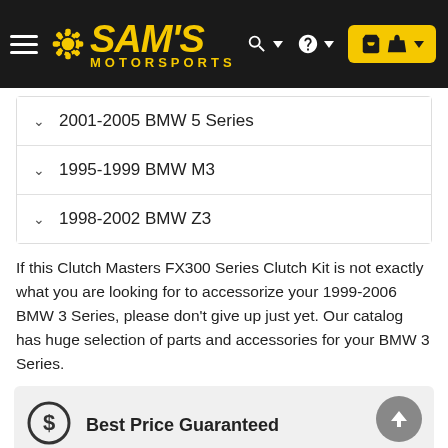[Figure (logo): Sam's Motorsports logo with gear icon on dark background, yellow text]
2001-2005 BMW 5 Series
1995-1999 BMW M3
1998-2002 BMW Z3
If this Clutch Masters FX300 Series Clutch Kit is not exactly what you are looking for to accessorize your 1999-2006 BMW 3 Series, please don't give up just yet. Our catalog has huge selection of parts and accessories for your BMW 3 Series.
Best Price Guaranteed
Shipping
In-House Experts